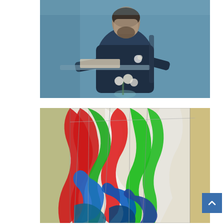[Figure (illustration): Painting of a bearded man in a dark shirt sitting at a table reading or writing, rendered in muted blue tones with a small vase of white flowers at the bottom.]
[Figure (photo): Close-up photograph of a stained glass artwork featuring bold curved shapes in red, green, blue/teal, and white/frosted glass with metal leading, against a brick wall background.]